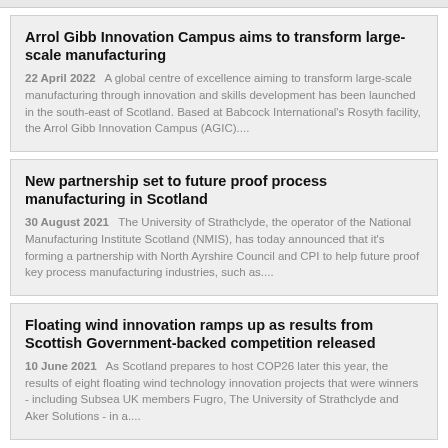Arrol Gibb Innovation Campus aims to transform large-scale manufacturing
22 April 2022   A global centre of excellence aiming to transform large-scale manufacturing through innovation and skills development has been launched in the south-east of Scotland. Based at Babcock International's Rosyth facility, the Arrol Gibb Innovation Campus (AGIC)....
New partnership set to future proof process manufacturing in Scotland
30 August 2021   The University of Strathclyde, the operator of the National Manufacturing Institute Scotland (NMIS), has today announced that it's forming a partnership with North Ayrshire Council and CPI to help future proof key process manufacturing industries, such as....
Floating wind innovation ramps up as results from Scottish Government-backed competition released
10 June 2021   As Scotland prepares to host COP26 later this year, the results of eight floating wind technology innovation projects that were winners - including Subsea UK members Fugro, The University of Strathclyde and Aker Solutions - in a....
Strathclyde University, NMIS and Subsea UK...